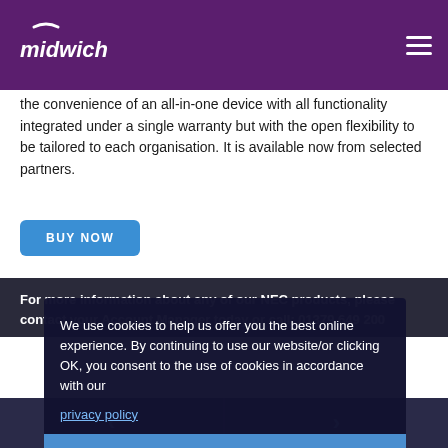midwich
the convenience of an all-in-one device with all functionality integrated under a single warranty but with the open flexibility to be tailored to each organisation. It is available now from selected partners.
BUY NOW
For more information about any of our NEC products, please contact your Account Manager today or call: 01379 649 200
We use cookies to help us offer you the best online experience. By continuing to use our website/or clicking OK, you consent to the use of cookies in accordance with our privacy policy
OK